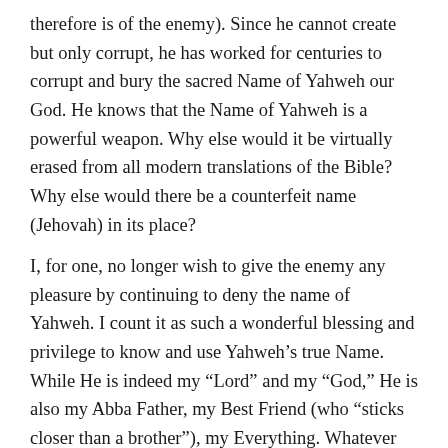therefore is of the enemy). Since he cannot create but only corrupt, he has worked for centuries to corrupt and bury the sacred Name of Yahweh our God. He knows that the Name of Yahweh is a powerful weapon. Why else would it be virtually erased from all modern translations of the Bible? Why else would there be a counterfeit name (Jehovah) in its place?
I, for one, no longer wish to give the enemy any pleasure by continuing to deny the name of Yahweh. I count it as such a wonderful blessing and privilege to know and use Yahweh’s true Name. While He is indeed my “Lord” and my “God,” He is also my Abba Father, my Best Friend (who “sticks closer than a brother”), my Everything. Whatever question we have, the answer is